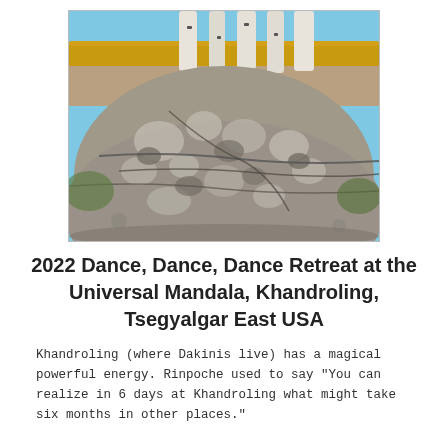[Figure (photo): Close-up photograph of a large granite boulder with cracked and mottled surface. In the background, a building with yellow trim and white birch tree trunks are visible against a blue sky.]
2022 Dance, Dance, Dance Retreat at the Universal Mandala, Khandroling, Tsegyalgar East USA
Khandroling (where Dakinis live) has a magical powerful energy. Rinpoche used to say "You can realize in 6 days at Khandroling what might take six months in other places."